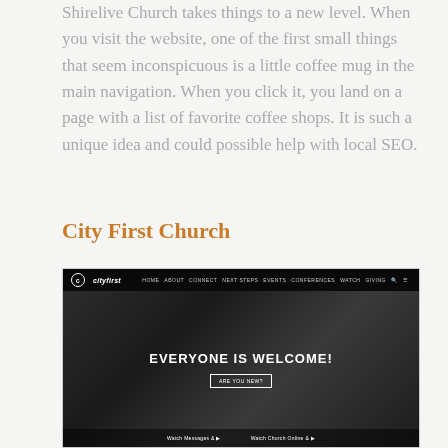Shirelive Church takes things to a new level. When you visit the website, one of the first small things that seem inconspicuous is a little coffee mug in the main navigation. When you click it, you land on a page with a list of favorite coffee shops. It is such a unique idea and could possible help with local SEO.
City First Church
[Figure (screenshot): Screenshot of City First Church website homepage showing navigation bar with cityfirst logo and menu items (HOME, ABOUT, CONNECT, NEXT STEPS, EVENTS, CONFERENCES, WATCH, GIVING), hero section with dark background, text 'EVERYONE IS WELCOME!' and a button 'ARE YOU NEW?', and bottom section with Watch Messages and Watch Church Online links.]